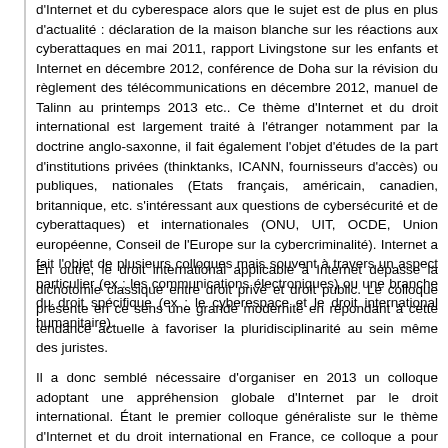d'Internet et du cyberespace alors que le sujet est de plus en plus d'actualité : déclaration de la maison blanche sur les réactions aux cyberattaques en mai 2011, rapport Livingstone sur les enfants et Internet en décembre 2012, conférence de Doha sur la révision du règlement des télécommunications en décembre 2012, manuel de Talinn au printemps 2013 etc.. Ce thème d'Internet et du droit international est largement traité à l'étranger notamment par la doctrine anglo-saxonne, il fait également l'objet d'études de la part d'institutions privées (thinktanks, ICANN, fournisseurs d'accès) ou publiques, nationales (Etats français, américain, canadien, britannique, etc. s'intéressant aux questions de cybersécurité et de cyberattaques) et internationales (ONU, UIT, OCDE, Union européenne, Conseil de l'Europe sur la cybercriminalité). Internet a fait l'objet de plusieurs colloques mais souvent à travers un aspect particulier (ex : les communications électroniques) ou une branche du droit spécifique (ex : le cyberespace et le droit international humanitaire).
En outre, le droit international applicable à Internet dépasse la dichotomie classique entre droit privé et droit public. Le colloque présente en ce sens une grande modernité en répondant à cette tendance actuelle à favoriser la pluridisciplinarité au sein même des juristes.
Il a donc semblé nécessaire d'organiser en 2013 un colloque adoptant une appréhension globale d'Internet par le droit international. Étant le premier colloque généraliste sur le thème d'Internet et du droit international en France, ce colloque a pour objectif de développer un nouveau champ disciplinaire dans la